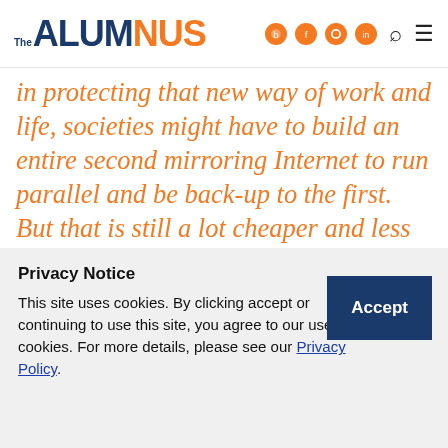The ALUMNUS
in protecting that new way of work and life, societies might have to build an entire second mirroring Internet to run parallel and be back-up to the first. But that is still a lot cheaper and less wasteful than building an entire second mass transit system to operate alongside
Privacy Notice
This site uses cookies. By clicking accept or continuing to use this site, you agree to our use of cookies. For more details, please see our Privacy Policy.